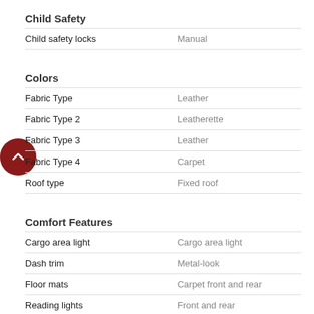Child Safety
| Feature | Value |
| --- | --- |
| Child safety locks | Manual |
Colors
| Feature | Value |
| --- | --- |
| Fabric Type | Leather |
| Fabric Type 2 | Leatherette |
| Fabric Type 3 | Leather |
| Fabric Type 4 | Carpet |
| Roof type | Fixed roof |
Comfort Features
| Feature | Value |
| --- | --- |
| Cargo area light | Cargo area light |
| Dash trim | Metal-look |
| Floor mats | Carpet front and rear |
| Reading lights | Front and rear |
| Shift knob trim | Leather |
| Steering wheel trim | Leather |